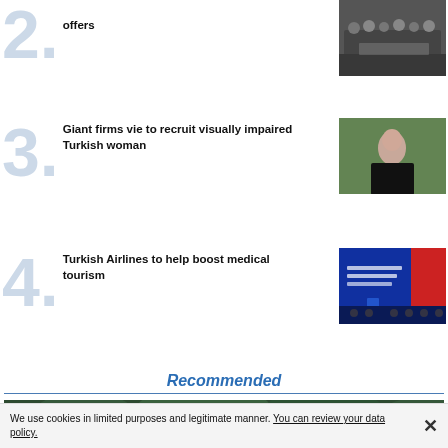offers
[Figure (photo): Group of people standing around a table in a office/meeting setting]
Giant firms vie to recruit visually impaired Turkish woman
[Figure (photo): Portrait of a young woman with dark hair wearing a black top, outdoors with green foliage background]
Turkish Airlines to help boost medical tourism
[Figure (photo): Conference/presentation scene with blue stage backdrop and audience]
Recommended
[Figure (photo): Wide photo of dense green tree canopy]
We use cookies in limited purposes and legitimate manner. You can review your data policy.